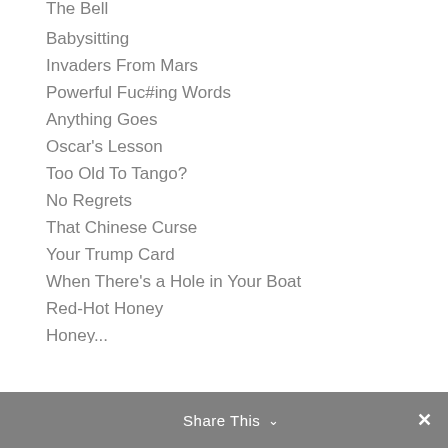The Bell
Babysitting
Invaders From Mars
Powerful Fuc#ing Words
Anything Goes
Oscar's Lesson
Too Old To Tango?
No Regrets
That Chinese Curse
Your Trump Card
When There's a Hole in Your Boat
Red-Hot Honey
Share This  ∨  ✕